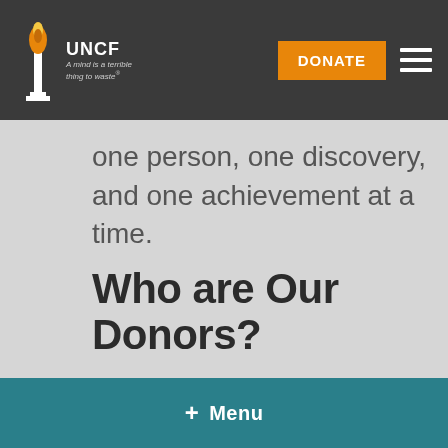UNCF — A mind is a terrible thing to waste | DONATE | Menu
one person, one discovery, and one achievement at a time.
Who are Our Donors?
+ Menu